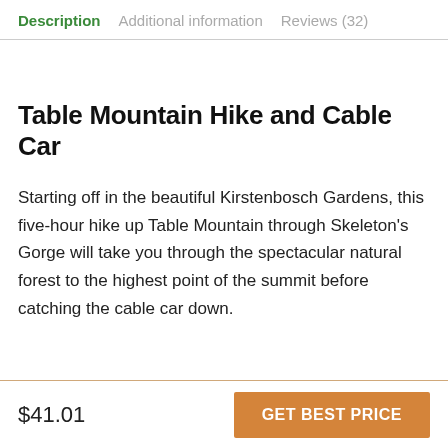Description | Additional information | Reviews (32)
Table Mountain Hike and Cable Car
Starting off in the beautiful Kirstenbosch Gardens, this five-hour hike up Table Mountain through Skeleton's Gorge will take you through the spectacular natural forest to the highest point of the summit before catching the cable car down.
$41.01
GET BEST PRICE